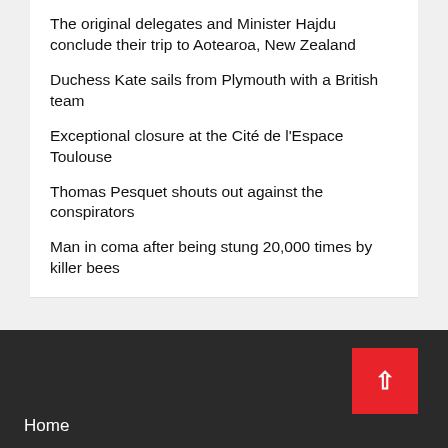The original delegates and Minister Hajdu conclude their trip to Aotearoa, New Zealand
Duchess Kate sails from Plymouth with a British team
Exceptional closure at the Cité de l'Espace Toulouse
Thomas Pesquet shouts out against the conspirators
Man in coma after being stung 20,000 times by killer bees
Home